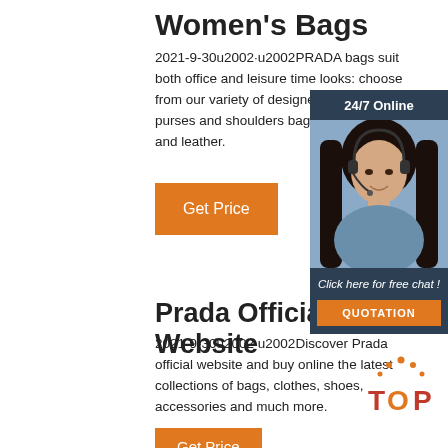Women's Bags
2021-9-30u2002·u2002PRADA bags suit both office and leisure time looks: choose from our variety of designer handbags, purses and shoulders bags, both in nylon and leather.
[Figure (illustration): Chat widget with dark blue background, '24/7 Online' header, photo of a smiling woman with headset, 'Click here for free chat!' text, and orange QUOTATION button]
Get Price
Prada Official Website
2021-9-30u2002·u2002Discover Prada official website and buy online the latest collections of bags, clothes, shoes, accessories and much more.
[Figure (logo): TOP logo with orange dots above letters]
Get Price